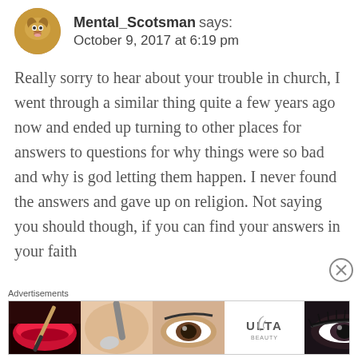Mental_Scotsman says:
October 9, 2017 at 6:19 pm
Really sorry to hear about your trouble in church, I went through a similar thing quite a few years ago now and ended up turning to other places for answers to questions for why things were so bad and why is god letting them happen. I never found the answers and gave up on religion. Not saying you should though, if you can find your answers in your faith
Advertisements
[Figure (infographic): Ulta Beauty advertisement banner showing close-up beauty/makeup images and SHOP NOW call to action]